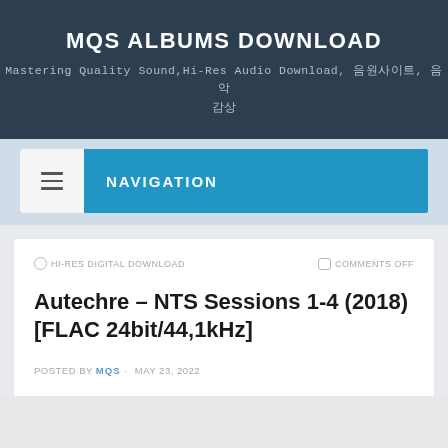MQS ALBUMS DOWNLOAD
Mastering Quality Sound,Hi-Res Audio Download, 음원사이트, 음악 감상
≡ NAVIGATION
HI-RES DIGITAL DOWNLOAD
COMMENTS OFF
Autechre – NTS Sessions 1-4 (2018) [FLAC 24bit/44,1kHz]
POSTED BY MQS · MAY 23, 2022